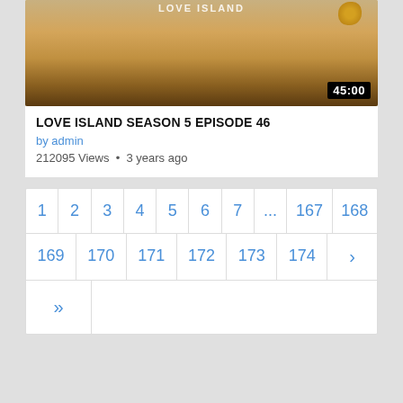[Figure (screenshot): Thumbnail image of beach/desert sand dunes with a golden decorative object and a duration badge showing 45:00]
LOVE ISLAND SEASON 5 EPISODE 46
by admin
212095 Views • 3 years ago
Pagination: 1, 2, 3, 4, 5, 6, 7, ..., 167, 168, 169, 170, 171, 172, 173, 174, >, »